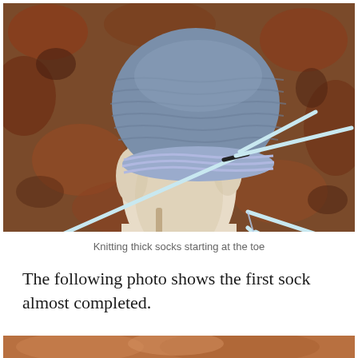[Figure (photo): A hand holding a partially knitted blue/grey sock being worked on with multiple double-pointed knitting needles, on a patterned carpet background. The sock toe is at the top and the needles radiate outward.]
Knitting thick socks starting at the toe
The following photo shows the first sock almost completed.
[Figure (photo): Bottom portion of a photo showing a nearly completed sock, cropped at the page bottom.]